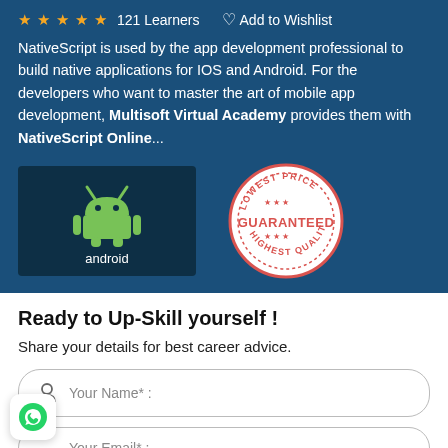★ ★ ★ ★ ★  121 Learners   ♡ Add to Wishlist
NativeScript is used by the app development professional to build native applications for IOS and Android. For the developers who want to master the art of mobile app development, Multisoft Virtual Academy provides them with NativeScript Online...
[Figure (illustration): Android robot logo on dark background with text 'android']
[Figure (illustration): Circular badge reading 'LOWEST PRICE GUARANTEED HIGHEST QUALITY' in red and dark text]
Ready to Up-Skill yourself !
Share your details for best career advice.
Your Name* :
Your Email* :